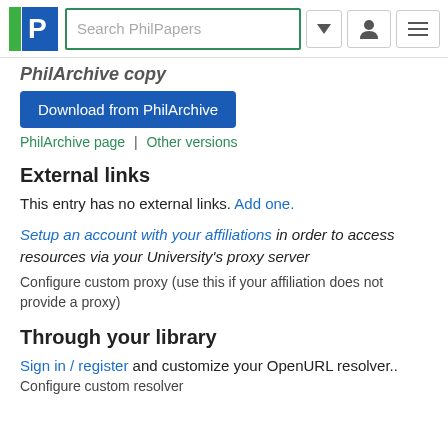PhilPapers — Search PhilPapers
PhilArchive copy
[Figure (other): Download from PhilArchive button (blue)]
PhilArchive page | Other versions
External links
This entry has no external links. Add one.
Setup an account with your affiliations in order to access resources via your University's proxy server
Configure custom proxy (use this if your affiliation does not provide a proxy)
Through your library
Sign in / register and customize your OpenURL resolver..
Configure custom resolver